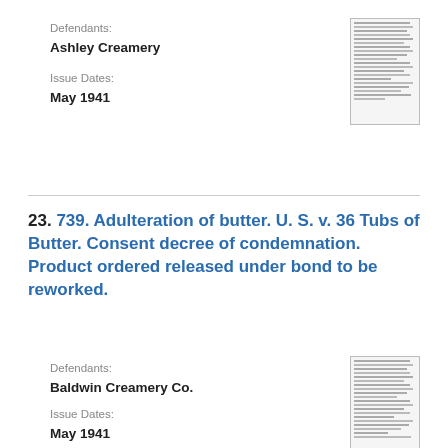Defendants:
Ashley Creamery
Issue Dates:
May 1941
[Figure (other): Thumbnail image of a dense legal document page with small text]
23. 739. Adulteration of butter. U. S. v. 36 Tubs of Butter. Consent decree of condemnation. Product ordered released under bond to be reworked.
Defendants:
Baldwin Creamery Co.
Issue Dates:
May 1941
[Figure (other): Thumbnail image of a dense legal document page with small text]